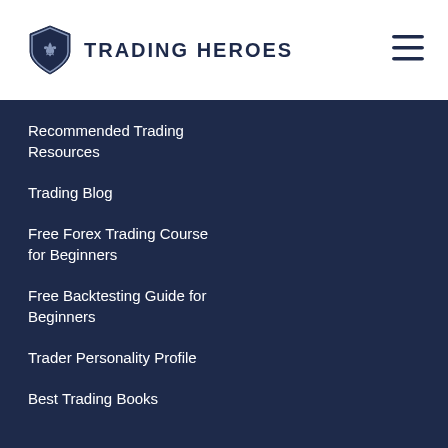TRADING HEROES
Recommended Trading Resources
Trading Blog
Free Forex Trading Course for Beginners
Free Backtesting Guide for Beginners
Trader Personality Profile
Best Trading Books
Blog
Backtesting
Podcast
Trader Life
Trading Psychology